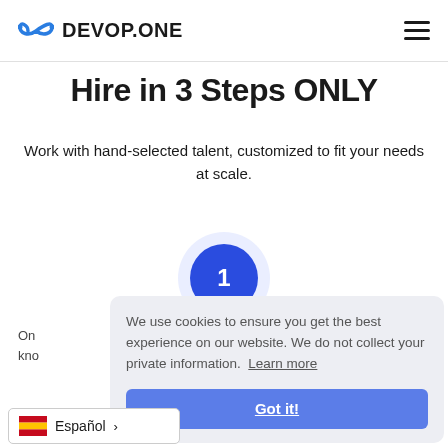DEVOP.ONE
Hire in 3 Steps ONLY
Work with hand-selected talent, customized to fit your needs at scale.
[Figure (infographic): Blue circle with number 1 inside, representing step 1]
On kno
We use cookies to ensure you get the best experience on our website. We do not collect your private information. Learn more
Got it!
Español >